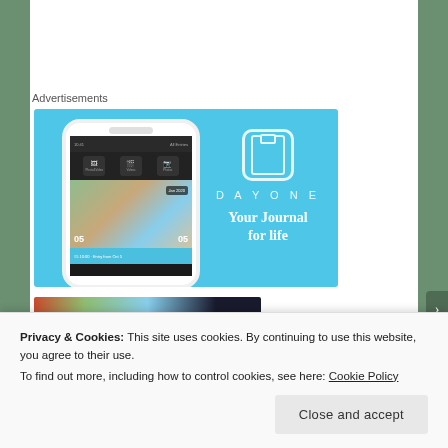Advertisements
[Figure (illustration): DayOne app advertisement banner on light blue background showing a phone mockup with journal app screenshots on the left, and the DayOne logo with book icon and tagline 'Your Journal for life' on the right]
[Figure (photo): Partial image strip showing colorful photo thumbnails]
Privacy & Cookies: This site uses cookies. By continuing to use this website, you agree to their use.
To find out more, including how to control cookies, see here: Cookie Policy
Close and accept